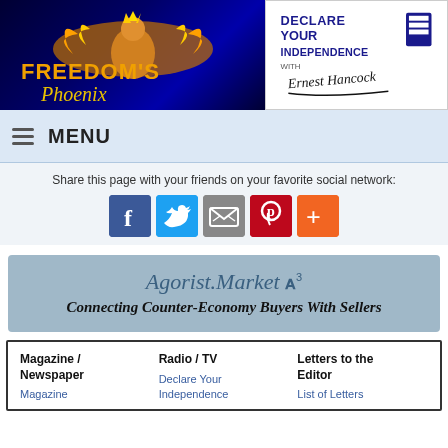[Figure (logo): Freedom's Phoenix logo — phoenix bird with golden flame wings on dark blue background with yellow/orange text]
[Figure (logo): Declare Your Independence with Ernest Hancock logo — blue bold text with signature]
MENU
Share this page with your friends on your favorite social network:
[Figure (infographic): Social sharing buttons: Facebook (f), Twitter (bird), Email (envelope), Pinterest (p), Plus (+)]
[Figure (logo): Agorist.Market A^3 — Connecting Counter-Economy Buyers With Sellers banner]
Magazine / Newspaper
Magazine
Radio / TV
Declare Your Independence
Letters to the Editor
List of Letters